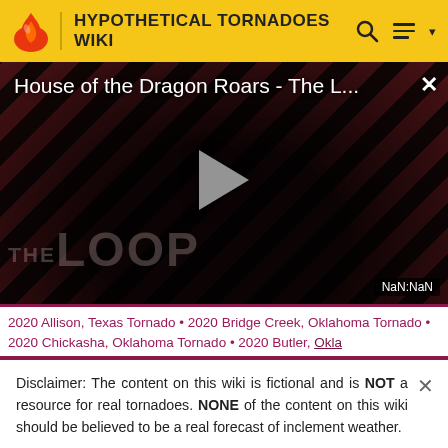HYPOTHETICAL TORNADOES WIKI
[Figure (screenshot): Video player showing 'House of the Dragon Roars - The L...' with a play button, diagonal red/dark stripe background, THE LOOP branding, NaN:NaN timer, and a close X button]
2020 Allison, Texas Tornado • 2020 Bridge Creek, Oklahoma Tornado • 2020 Chickasha, Oklahoma Tornado • 2020 Butler, Oklahoma Tornado • 2020 Ponca, Oklahoma Tornado • 2020...
Disclaimer: The content on this wiki is fictional and is NOT a resource for real tornadoes. NONE of the content on this wiki should be believed to be a real forecast of inclement weather.